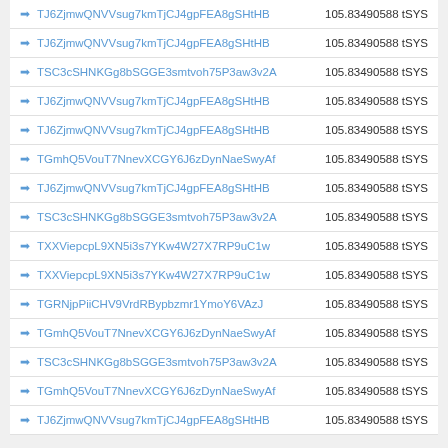| Address | Amount |
| --- | --- |
| ➡ TJ6ZjmwQNVVsug7kmTjCJ4gpFEA8gSHtHB | 105.83490588 tSYS |
| ➡ TJ6ZjmwQNVVsug7kmTjCJ4gpFEA8gSHtHB | 105.83490588 tSYS |
| ➡ TSC3cSHNKGg8bSGGE3smtvoh75P3aw3v2A | 105.83490588 tSYS |
| ➡ TJ6ZjmwQNVVsug7kmTjCJ4gpFEA8gSHtHB | 105.83490588 tSYS |
| ➡ TJ6ZjmwQNVVsug7kmTjCJ4gpFEA8gSHtHB | 105.83490588 tSYS |
| ➡ TGmhQ5VouT7NnevXCGY6J6zDynNaeSwyAf | 105.83490588 tSYS |
| ➡ TJ6ZjmwQNVVsug7kmTjCJ4gpFEA8gSHtHB | 105.83490588 tSYS |
| ➡ TSC3cSHNKGg8bSGGE3smtvoh75P3aw3v2A | 105.83490588 tSYS |
| ➡ TXXViepcpL9XN5i3s7YKw4W27X7RP9uC1w | 105.83490588 tSYS |
| ➡ TXXViepcpL9XN5i3s7YKw4W27X7RP9uC1w | 105.83490588 tSYS |
| ➡ TGRNjpPiiCHV9VrdRBypbzmr1YmoY6VAzJ | 105.83490588 tSYS |
| ➡ TGmhQ5VouT7NnevXCGY6J6zDynNaeSwyAf | 105.83490588 tSYS |
| ➡ TSC3cSHNKGg8bSGGE3smtvoh75P3aw3v2A | 105.83490588 tSYS |
| ➡ TGmhQ5VouT7NnevXCGY6J6zDynNaeSwyAf | 105.83490588 tSYS |
| ➡ TJ6ZjmwQNVVsug7kmTjCJ4gpFEA8gSHtHB | 105.83490588 tSYS |